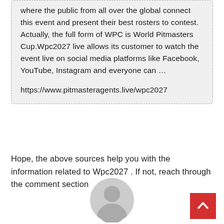where the public from all over the global connect this event and present their best rosters to contest. Actually, the full form of WPC is World Pitmasters Cup.Wpc2027 live allows its customer to watch the event live on social media platforms like Facebook, YouTube, Instagram and everyone can …

https://www.pitmasteragents.live/wpc2027
Hope, the above sources help you with the information related to Wpc2027 . If not, reach through the comment section
[Figure (illustration): Generic grey user avatar icon showing a person silhouette in a circle]